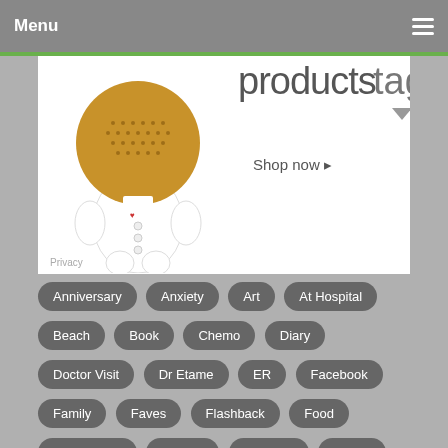Menu
[Figure (screenshot): Advertisement banner showing a robot-shaped Bluetooth speaker with a golden dome head and white body, with 'products' and 'tags' text visible, and a 'Shop now' call to action. Privacy label in bottom left.]
Anniversary
Anxiety
Art
At Hospital
Beach
Book
Chemo
Diary
Doctor Visit
Dr Etame
ER
Facebook
Family
Faves
Flashback
Food
FoofTheCat
Friends
HaHaHa
Happy
Healing
Holi-daze
Home Living
Hubs